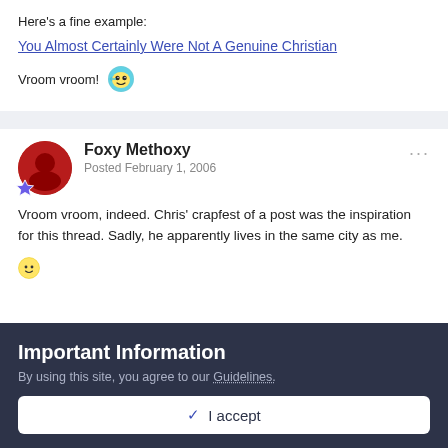Here's a fine example:
You Almost Certainly Were Not A Genuine Christian
Vroom vroom! 🤪
Foxy Methoxy
Posted February 1, 2006
Vroom vroom, indeed. Chris' crapfest of a post was the inspiration for this thread. Sadly, he apparently lives in the same city as me.
Important Information
By using this site, you agree to our Guidelines.
✓ I accept